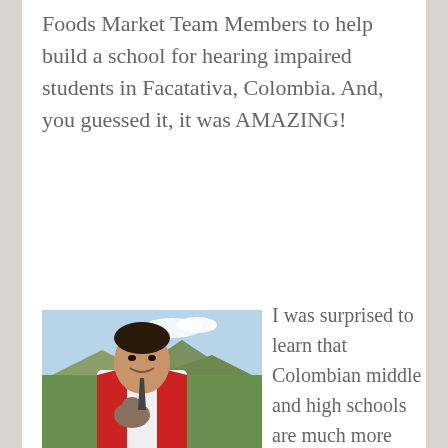Foods Market Team Members to help build a school for hearing impaired students in Facatativa, Colombia. And, you guessed it, it was AMAZING!
[Figure (photo): A young man in a red sweater and white shirt holding a small animal (rabbit/guinea pig), standing outdoors with green hills and a blue sky in the background.]
I was surprised to learn that Colombian middle and high schools are much more like trade